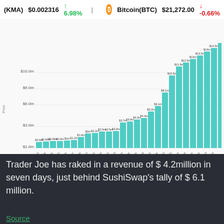(KMA) $0.002316 ↑ 6.98%   Bitcoin(BTC) $21,272.00 ↓ -0.66%
[Figure (bar-chart): Protocol Revenue (7 days)]
Trader Joe has raked in a revenue of $ 4.2million in seven days, just behind SushiSwap's tally of $ 6.1 million.
Source